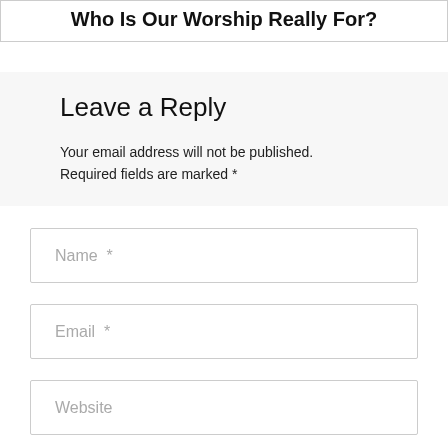Who Is Our Worship Really For?
Leave a Reply
Your email address will not be published. Required fields are marked *
Name  *
Email  *
Website